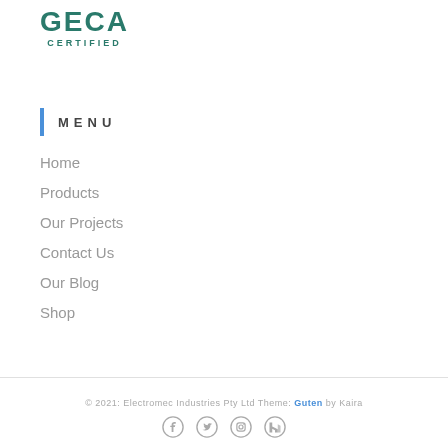[Figure (logo): GECA CERTIFIED logo in teal/green color]
MENU
Home
Products
Our Projects
Contact Us
Our Blog
Shop
© 2021: Electromec Industries Pty Ltd Theme: Guten by Kaira
[Figure (illustration): Social media icons: Facebook, Twitter, Instagram, Houzz]